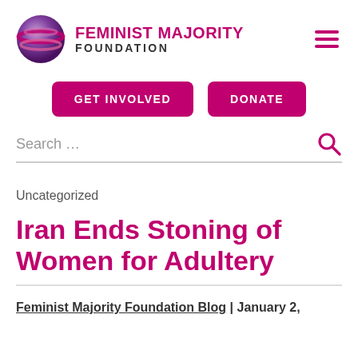FEMINIST MAJORITY FOUNDATION
GET INVOLVED   DONATE
Search …
Uncategorized
Iran Ends Stoning of Women for Adultery
Feminist Majority Foundation Blog | January 2,